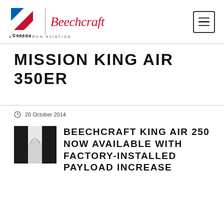Cessna | Beechcraft BY TEXTRON AVIATION
MISSION KING AIR 350ER
20 October 2014
[Figure (photo): Thumbnail image of an aircraft, partially obscured, black and white tones]
BEECHCRAFT KING AIR 250 NOW AVAILABLE WITH FACTORY-INSTALLED PAYLOAD INCREASE